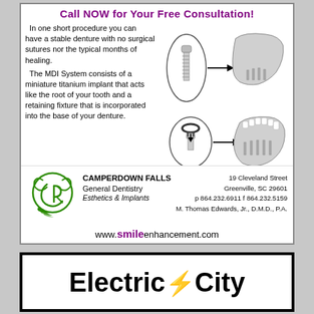Call NOW for Your Free Consultation!
In one short procedure you can have a stable denture with no surgical sutures nor the typical months of healing.
The MDI System consists of a miniature titanium implant that acts like the root of your tooth and a retaining fixture that is incorporated into the base of your denture.
[Figure (illustration): Dental implant diagrams showing MDI mini implant screw and jaw bone placement, with arrows indicating insertion into denture base.]
CAMPERDOWN FALLS General Dentistry Esthetics & Implants
19 Cleveland Street Greenville, SC 29601 p 864.232.6911 f 864.232.5159 M. Thomas Edwards, Jr., D.M.D., P.A.
[Figure (logo): Camperdown Falls green decorative logo with cursive CR letters]
www.smileenhancement.com
Electric City